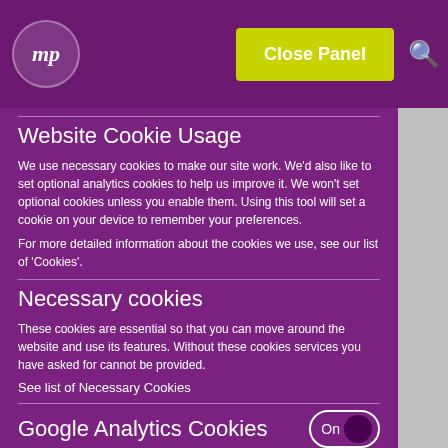[Figure (screenshot): Website cookie consent panel overlaying a purple website. Header has a logo circle with 'mp' text and a yellow-green 'Close Panel' button. Below are sections: 'Website Cookie Usage', 'Necessary cookies', 'Google Analytics Cookies' with an On toggle.]
Website Cookie Usage
We use necessary cookies to make our site work. We'd also like to set optional analytics cookies to help us improve it. We won't set optional cookies unless you enable them. Using this tool will set a cookie on your device to remember your preferences.
For more detailed information about the cookies we use, see our list of 'Cookies'.
Necessary cookies
These cookies are essential so that you can move around the website and use its features. Without these cookies services you have asked for cannot be provided.
See list of Necessary Cookies
Google Analytics Cookies
We'd like to set Google Analytics cookies to help us to improve our website by collecting and reporting information on how you use it.